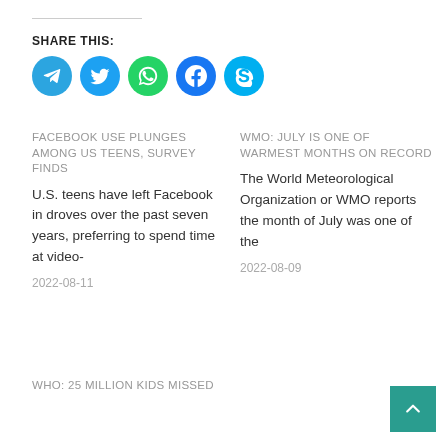SHARE THIS:
[Figure (infographic): Five social media share buttons: Telegram (blue), Twitter (blue), WhatsApp (green), Facebook (blue), Skype (blue)]
FACEBOOK USE PLUNGES AMONG US TEENS, SURVEY FINDS
U.S. teens have left Facebook in droves over the past seven years, preferring to spend time at video-
2022-08-11
WMO: JULY IS ONE OF WARMEST MONTHS ON RECORD
The World Meteorological Organization or WMO reports the month of July was one of the
2022-08-09
WHO: 25 MILLION KIDS MISSED